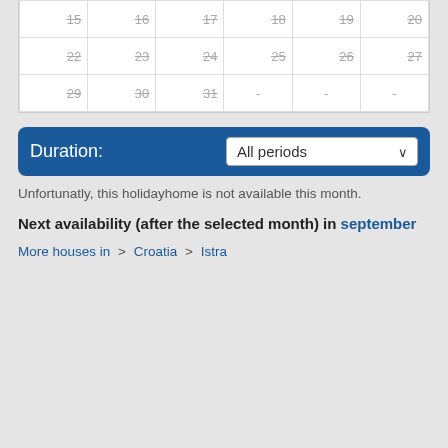| 15 | 16 | 17 | 18 | 19 | 20 |
| 22 | 23 | 24 | 25 | 26 | 27 |
| 29 | 30 | 31 | - | - | - |
Duration: All periods
Unfortunatly, this holidayhome is not available this month.
Next availability (after the selected month) in september
More houses in  >  Croatia  >  Istra